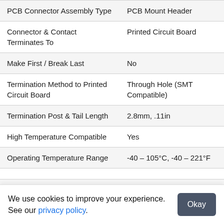| Property | Value |
| --- | --- |
| PCB Connector Assembly Type | PCB Mount Header |
| Connector & Contact Terminates To | Printed Circuit Board |
| Make First / Break Last | No |
| Termination Method to Printed Circuit Board | Through Hole (SMT Compatible) |
| Termination Post & Tail Length | 2.8mm, .11in |
| High Temperature Compatible | Yes |
| Operating Temperature Range | -40 – 105°C, -40 – 221°F |
✔ RoHS Compliant ✔ ELV Compliant ℹ Reflow
We use cookies to improve your experience. See our privacy policy.